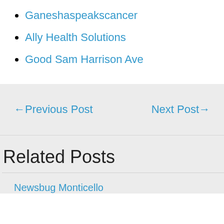Ganeshaspeakscancer
Ally Health Solutions
Good Sam Harrison Ave
← Previous Post    Next Post →
Related Posts
Newsbug Monticello